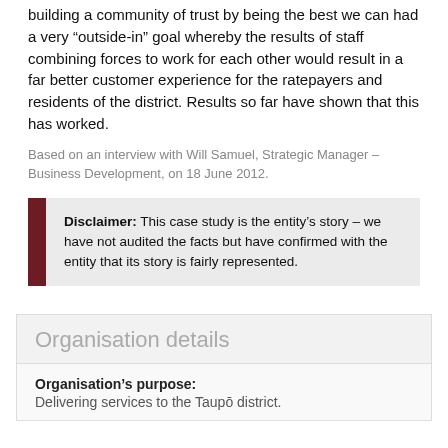building a community of trust by being the best we can had a very “outside-in” goal whereby the results of staff combining forces to work for each other would result in a far better customer experience for the ratepayers and residents of the district. Results so far have shown that this has worked.
Based on an interview with Will Samuel, Strategic Manager – Business Development, on 18 June 2012.
Disclaimer: This case study is the entity’s story – we have not audited the facts but have confirmed with the entity that its story is fairly represented.
Organisation details
Organisation’s purpose: Delivering services to the Taupō district.